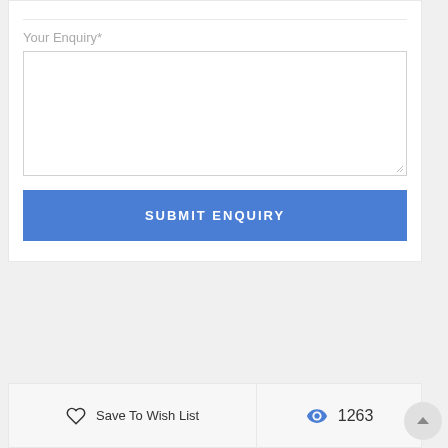Your Enquiry*
SUBMIT ENQUIRY
Save To Wish List
1263